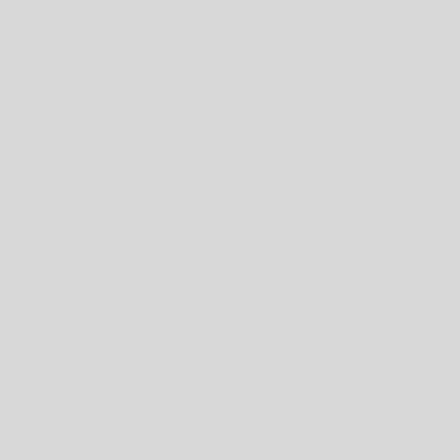exa me - I hav alre forg the title
A leop in eve hon you kno it mak sen
[Figure (other): Norfolk Island flag - green and white vertical stripes with a Norfolk Island pine tree in the center]
Olwe
Senator
Posts: 4934
QUOTE
by Olwe » Thu Jul 02, 2015